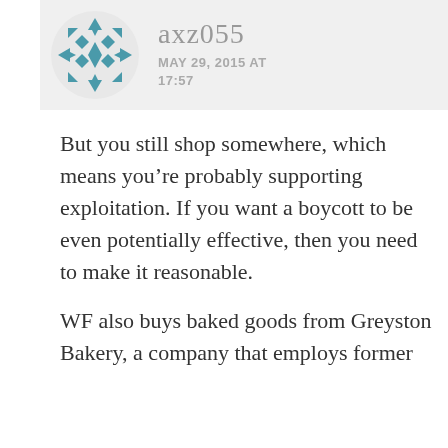[Figure (illustration): User avatar: a circular geometric pattern made of teal/blue triangles and diamond shapes arranged in a snowflake-like design]
axz055
MAY 29, 2015 AT 17:57
But you still shop somewhere, which means you’re probably supporting exploitation. If you want a boycott to be even potentially effective, then you need to make it reasonable.
WF also buys baked goods from Greyston Bakery, a company that employs former